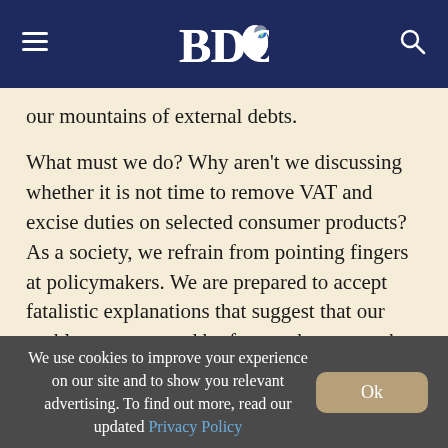BDO
our mountains of external debts.
What must we do? Why aren't we discussing whether it is not time to remove VAT and excise duties on selected consumer products? As a society, we refrain from pointing fingers at policymakers. We are prepared to accept fatalistic explanations that suggest that our problems are caused by factors that cannot be
We use cookies to improve your experience on our site and to show you relevant advertising. To find out more, read our updated Privacy Policy